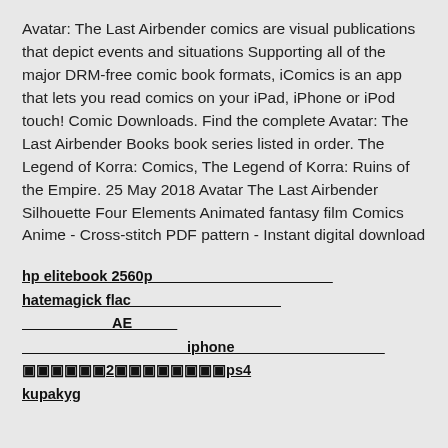Avatar: The Last Airbender comics are visual publications that depict events and situations Supporting all of the major DRM-free comic book formats, iComics is an app that lets you read comics on your iPad, iPhone or iPod touch! Comic Downloads. Find the complete Avatar: The Last Airbender Books book series listed in order. The Legend of Korra: Comics, The Legend of Korra: Ruins of the Empire. 25 May 2018 Avatar The Last Airbender Silhouette Four Elements Animated fantasy film Comics Anime - Cross-stitch PDF pattern - Instant digital download
hp elitebook 2560p
hatemagick flac
AE
iphone
⬛⬛⬛⬛⬛⬛2⬛⬛⬛⬛⬛⬛⬛⬛ps4
kupakyg